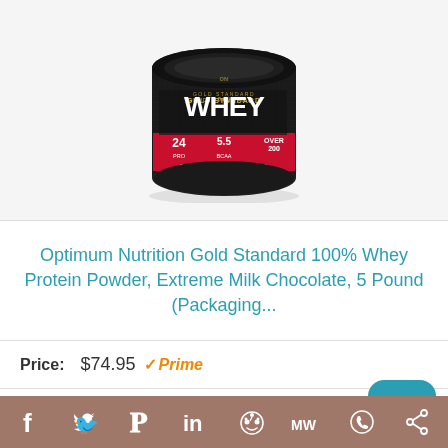[Figure (photo): Black tub of Optimum Nutrition Gold Standard 100% Whey protein powder with red label]
Optimum Nutrition Gold Standard 100% Whey Protein Powder, Extreme Milk Chocolate, 5 Pound (Packaging...
Price: $74.95 ✓Prime
Buy on Amazon